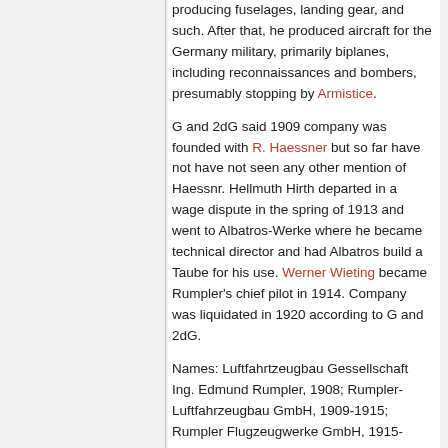producing fuselages, landing gear, and such. After that, he produced aircraft for the Germany military, primarily biplanes, including reconnaissances and bombers, presumably stopping by Armistice.
G and 2dG said 1909 company was founded with R. Haessner but so far have not have not seen any other mention of Haessnr. Hellmuth Hirth departed in a wage dispute in the spring of 1913 and went to Albatros-Werke where he became technical director and had Albatros build a Taube for his use. Werner Wieting became Rumpler's chief pilot in 1914. Company was liquidated in 1920 according to G and 2dG.
Names: Luftfahrtzeugbau Gessellschaft Ing. Edmund Rumpler, 1908; Rumpler-Luftfahrzeugbau GmbH, 1909-1915; Rumpler Flugzeugwerke GmbH, 1915-